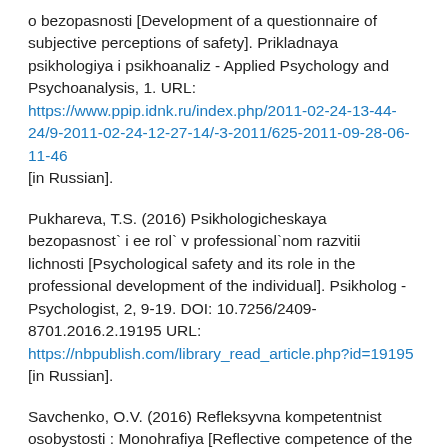o bezopasnosti [Development of a questionnaire of subjective perceptions of safety]. Prikladnaya psikhologiya i psikhoanaliz - Applied Psychology and Psychoanalysis, 1. URL: https://www.ppip.idnk.ru/index.php/2011-02-24-13-44-24/9-2011-02-24-12-27-14/-3-2011/625-2011-09-28-06-11-46 [in Russian].
Pukhareva, T.S. (2016) Psikhologicheskaya bezopasnost` i ee rol` v professional`nom razvitii lichnosti [Psychological safety and its role in the professional development of the individual]. Psikholog - Psychologist, 2, 9-19. DOI: 10.7256/2409-8701.2016.2.19195 URL: https://nbpublish.com/library_read_article.php?id=19195 [in Russian].
Savchenko, O.V. (2016) Refleksyvna kompetentnist osobystosti : Monohrafiya [Reflective competence of the personality: Monograph]. Kherson, Ukraine: PP Vyshemyrskyi V.S. [in Ukraine].